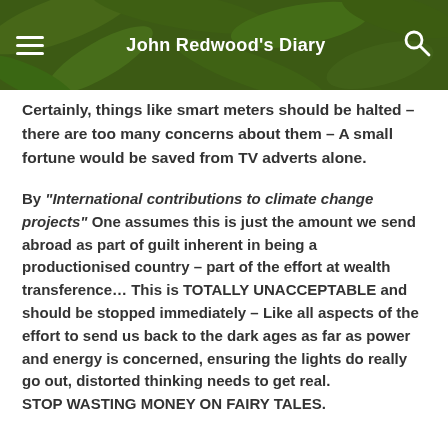John Redwood's Diary
Certainly, things like smart meters should be halted – there are too many concerns about them – A small fortune would be saved from TV adverts alone.
By "International contributions to climate change projects" One assumes this is just the amount we send abroad as part of guilt inherent in being a productionised country – part of the effort at wealth transference… This is TOTALLY UNACCEPTABLE and should be stopped immediately – Like all aspects of the effort to send us back to the dark ages as far as power and energy is concerned, ensuring the lights do really go out, distorted thinking needs to get real. STOP WASTING MONEY ON FAIRY TALES.